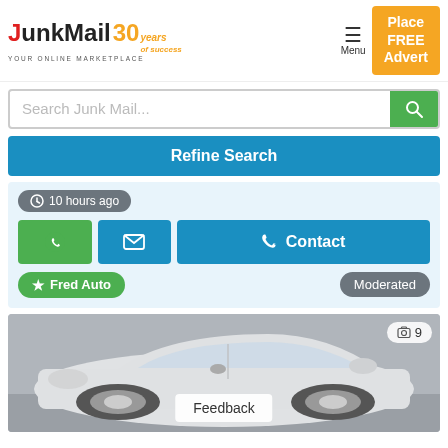[Figure (logo): JunkMail 30 years logo - YOUR ONLINE MARKETPLACE]
Menu
Place FREE Advert
Search Junk Mail...
Refine Search
10 hours ago
Contact
Fred Auto
Moderated
[Figure (photo): White car (Toyota) parked, viewed from front-left angle. Photo count badge showing 9 photos.]
Feedback